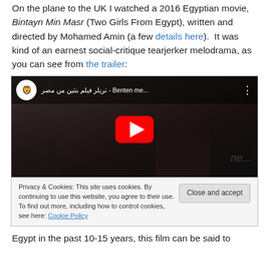On the plane to the UK I watched a 2016 Egyptian movie, Bintayn Min Masr (Two Girls From Egypt), written and directed by Mohamed Amin (a few details here). It was kind of an earnest social-critique tearjerker melodrama, as you can see from the trailer:
[Figure (screenshot): YouTube video embed showing trailer for 'Bintayn Min Masr' (تريلر فيلم بنتين من مصر - Benten me...) with a cookie consent overlay at the bottom containing a 'Close and accept' button.]
Egypt in the past 10-15 years, this film can be said to